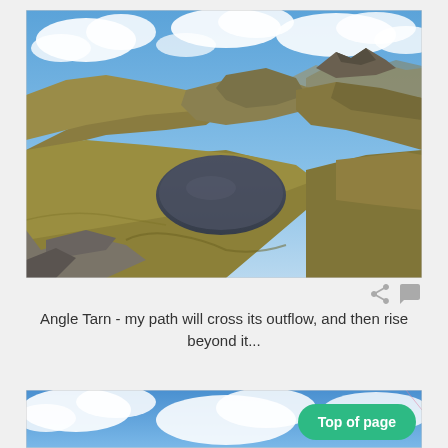[Figure (photo): Aerial/high-angle landscape photograph of Angle Tarn, a mountain lake nestled in a glacial hollow surrounded by golden-green moorland hills and rocky outcrops, with rugged peaks and blue sky with clouds in the background. Lake District, UK.]
Angle Tarn - my path will cross its outflow, and then rise beyond it...
[Figure (photo): Partial view of another landscape photo showing blue sky with white clouds, partially obscured by a 'Top of page' button.]